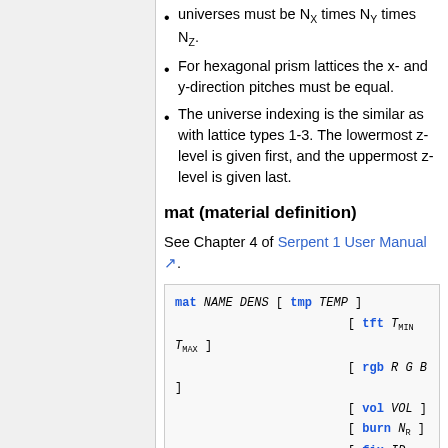universes must be N_X times N_Y times N_Z.
For hexagonal prism lattices the x- and y-direction pitches must be equal.
The universe indexing is the similar as with lattice types 1-3. The lowermost z-level is given first, and the uppermost z-level is given last.
mat (material definition)
See Chapter 4 of Serpent 1 User Manual [external link].
mat NAME DENS [ tmp TEMP ]
[ tft T_MIN T_MAX ]
[ rgb R G B ]
[ vol VOL ]
[ burn N_R ]
[ fix ID TEMP ]
[ moder THNAME Z...